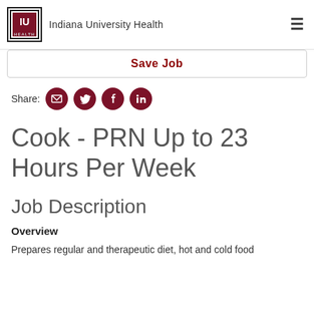Indiana University Health
Save Job
Share:
Cook - PRN Up to 23 Hours Per Week
Job Description
Overview
Prepares regular and therapeutic diet, hot and cold food